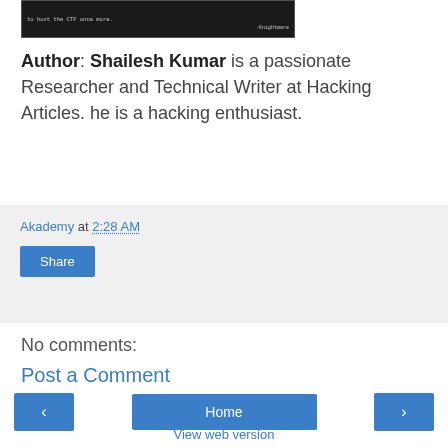[Figure (screenshot): Terminal screenshot showing text and '-Knightmare' signature on dark background]
Author: Shailesh Kumar is a passionate Researcher and Technical Writer at Hacking Articles. he is a hacking enthusiast.
Akademy at 2:28 AM
Share
No comments:
Post a Comment
Home
View web version
Powered by Blogger.